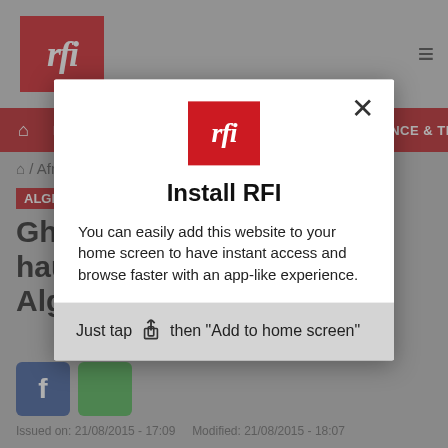[Figure (screenshot): RFI website screenshot with modal dialog prompting user to install RFI as a home screen app. Background shows RFI header with logo, red navigation bar with FRANCE, AFRICA, INTERNATIONAL, SCIENCE & TECHNO links, partial article title starting with 'Gho...haun...Alge...' and social share icons. Foreground shows white modal popup with RFI logo, title 'Install RFI', body text about adding to home screen, and bottom grey bar with tap instruction.]